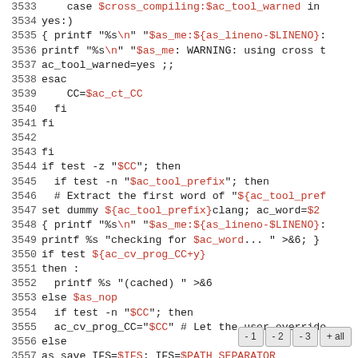[Figure (screenshot): Source code listing showing shell script lines 3533–3562 with line numbers on the left and monospaced code. Variables and special strings are colored in red/pink. A navigation bar with buttons '-1', '-2', '-3', '+all' is visible at the bottom right.]